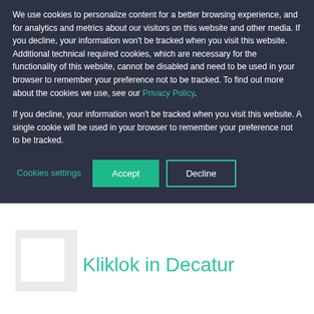We use cookies to personalize content for a better browsing experience, and for analytics and metrics about our visitors on this website and other media. If you decline, your information won't be tracked when you visit this website. Additional technical required cookies, which are necessary for the functionality of this website, cannot be disabled and need to be used in your browser to remember your preference not to be tracked. To find out more about the cookies we use, see our Privacy Policy.
If you decline, your information won't be tracked when you visit this website. A single cookie will be used in your browser to remember your preference not to be tracked.
Cookies settings
Accept
Decline
Kliklok in Decatur